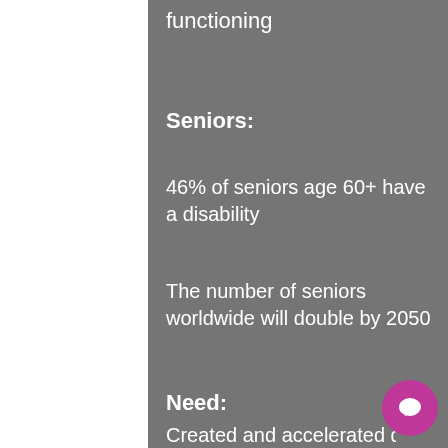functioning
Seniors:
46% of seniors age 60+ have a disability
The number of seniors worldwide will double by 2050
Need:
Created and accelerated due to